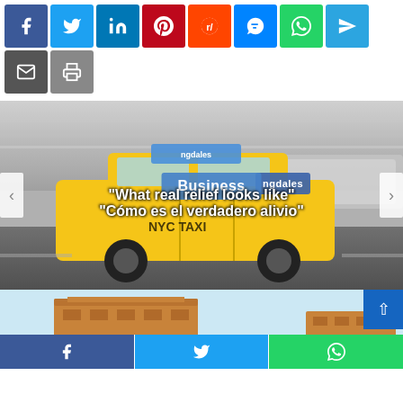[Figure (screenshot): Social media share buttons bar: Facebook (blue), Twitter (light blue), LinkedIn (blue), Pinterest (red), Reddit (orange-red), Messenger (blue), WhatsApp (green), Telegram (light blue) in top row; Email (dark gray), Print (gray) in second row]
[Figure (photo): Yellow NYC taxi cab speeding through city street with motion blur background. Blue 'Business' badge overlaid at top center. Text overlay reads: 'What real relief looks like' / 'Cómo es el verdadero alivio'. Navigation arrows on left and right sides.]
[Figure (screenshot): Bottom section showing building/storefront images on light blue background with scroll-to-top button (dark blue, up arrow) at right. Bottom share bar with Facebook, Twitter, WhatsApp buttons.]